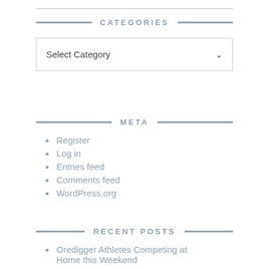CATEGORIES
[Figure (screenshot): Select Category dropdown box with chevron arrow]
META
Register
Log in
Entries feed
Comments feed
WordPress.org
RECENT POSTS
Oredigger Athletes Competing at Home this Weekend